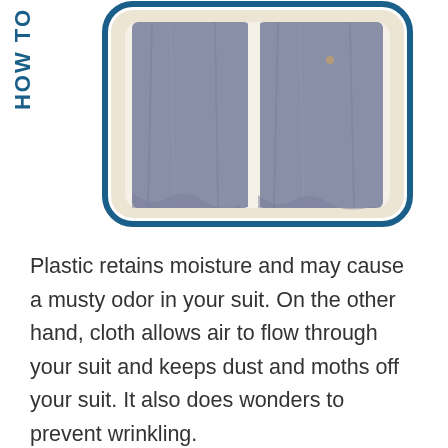[Figure (illustration): Illustration of a garment bag / suit cover with blue rounded-rectangle border, beige/cream inner frame, and gray fabric/curtain panels hanging inside. 'HOW TO' text appears vertically on the left side in bold blue.]
Plastic retains moisture and may cause a musty odor in your suit. On the other hand, cloth allows air to flow through your suit and keeps dust and moths off your suit. It also does wonders to prevent wrinkling.